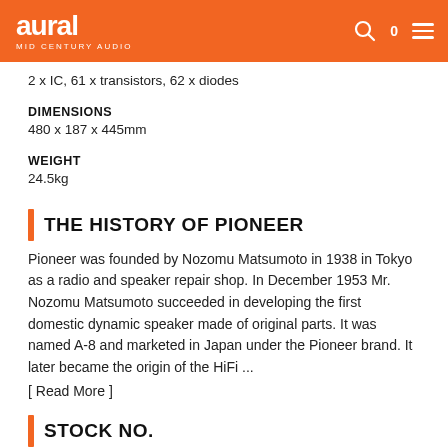aural MID CENTURY AUDIO
2 x IC, 61 x transistors, 62 x diodes
DIMENSIONS
480 x 187 x 445mm
WEIGHT
24.5kg
THE HISTORY OF PIONEER
Pioneer was founded by Nozomu Matsumoto in 1938 in Tokyo as a radio and speaker repair shop. In December 1953 Mr. Nozomu Matsumoto succeeded in developing the first domestic dynamic speaker made of original parts. It was named A-8 and marketed in Japan under the Pioneer brand. It later became the origin of the HiFi ...
[ Read More ]
STOCK NO.
6235502510248